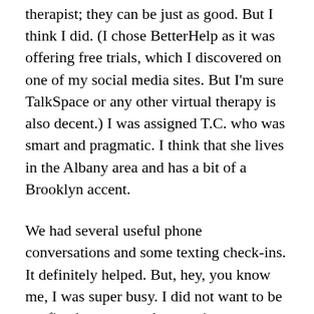therapist; they can be just as good. But I think I did. (I chose BetterHelp as it was offering free trials, which I discovered on one of my social media sites. But I'm sure TalkSpace or any other virtual therapy is also decent.) I was assigned T.C. who was smart and pragmatic. I think that she lives in the Albany area and has a bit of a Brooklyn accent.
We had several useful phone conversations and some texting check-ins. It definitely helped. But, hey, you know me, I was super busy. I did not want to be confined to any regular appointments, even phone calls.
Fast forward these several months to today: I am, like the whole world, circumstantially challenged by this time of necessary confinement. The circumference of my life has been compressed. While I'd rather not have woken and become a part of the middle-of-the-night